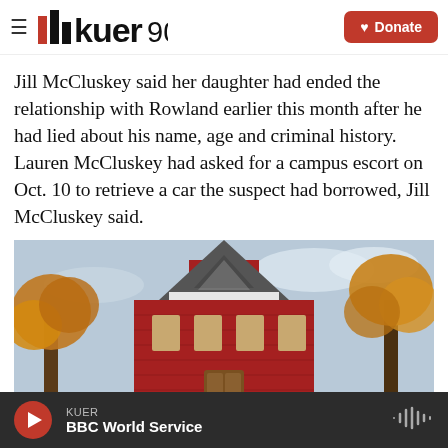KUER 90.1 | Donate
Jill McCluskey said her daughter had ended the relationship with Rowland earlier this month after he had lied about his name, age and criminal history. Lauren McCluskey had asked for a campus escort on Oct. 10 to retrieve a car the suspect had borrowed, Jill McCluskey said.
[Figure (photo): Photo of a red brick building with a steeple/clock tower and autumn trees in the foreground against a light sky.]
KUER | BBC World Service